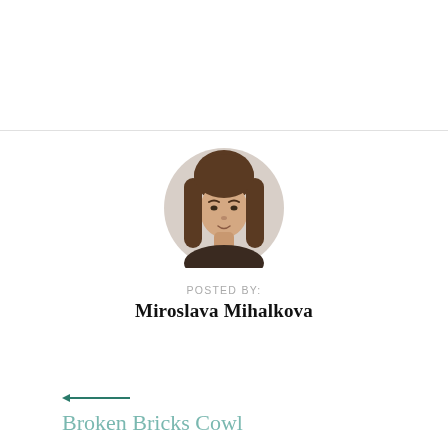[Figure (photo): Circular profile photo of a woman with long brown hair against a light background]
POSTED BY:
Miroslava Mihalkova
← Broken Bricks Cowl